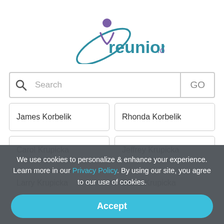[Figure (logo): reunion.com logo with stylized person/orbit icon in teal and purple, text 'reunion.com']
Search
James Korbelik
Rhonda Korbelik
Carol Krupicka
Jeffrey Krupicka
Larry Krupicka
Laura Krupicka
We use cookies to personalize & enhance your experience. Learn more in our Privacy Policy. By using our site, you agree to our use of cookies.
Accept